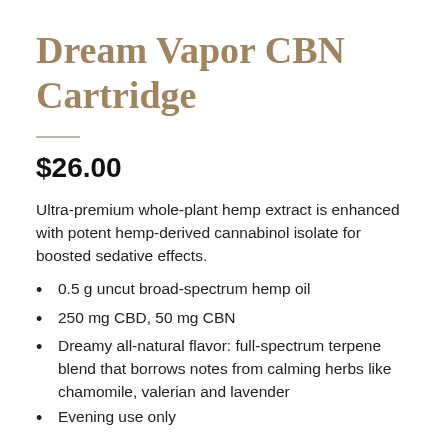Dream Vapor CBN Cartridge
$26.00
Ultra-premium whole-plant hemp extract is enhanced with potent hemp-derived cannabinol isolate for boosted sedative effects.
0.5 g uncut broad-spectrum hemp oil
250 mg CBD, 50 mg CBN
Dreamy all-natural flavor: full-spectrum terpene blend that borrows notes from calming herbs like chamomile, valerian and lavender
Evening use only